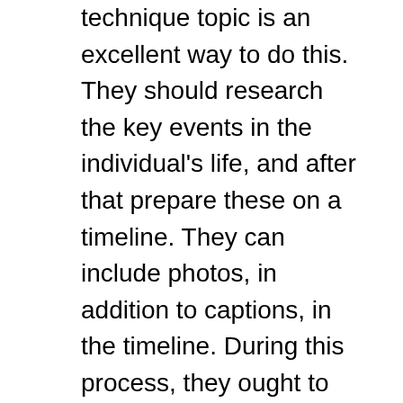technique topic is an excellent way to do this. They should research the key events in the individual's life, and after that prepare these on a timeline. They can include photos, in addition to captions, in the timeline. During this process, they ought to locate the themes of their topic.
Thematic statements are essential, especially in a pupil's bio. These statements can help pupils create a meaningful, in-depth bio. Thematic statements are necessary, as they aid the visitor obtain an expert sight of the individual being reviewed. They need to also consider the subject of the bio. If the topic of the biographer is an unidentified